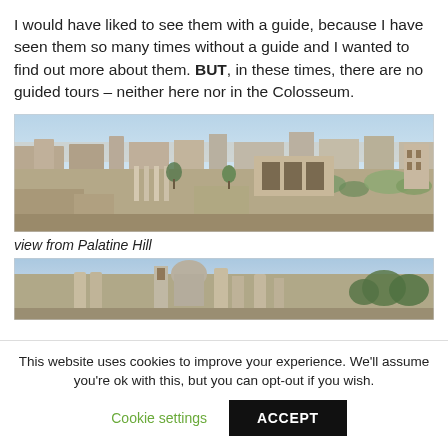I would have liked to see them with a guide, because I have seen them so many times without a guide and I wanted to find out more about them. BUT, in these times, there are no guided tours – neither here nor in the Colosseum.
[Figure (photo): Panoramic view of the Roman Forum and surrounding ruins from Palatine Hill, showing ancient columns, arches, and ruins under a blue sky.]
view from Palatine Hill
[Figure (photo): Partial panoramic view of Rome ruins showing ancient buildings and trees under a blue sky, partially cut off at bottom of page.]
This website uses cookies to improve your experience. We'll assume you're ok with this, but you can opt-out if you wish.